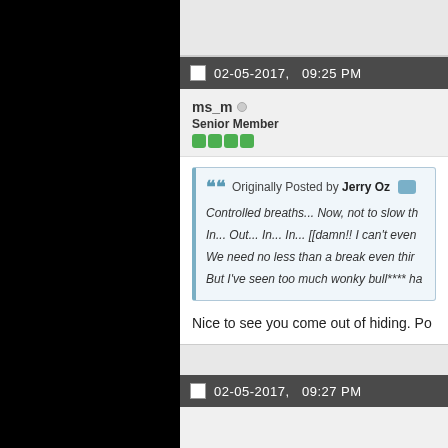02-05-2017, 09:25 PM
ms_m  Senior Member
Originally Posted by Jerry Oz
Controlled breaths... Now, not to slow th
In... Out... In... In... [[damn!! I can't even
We need no less than a break even thir
But I've seen too much wonky bull**** ha
Nice to see you come out of hiding. Po
02-05-2017, 09:27 PM